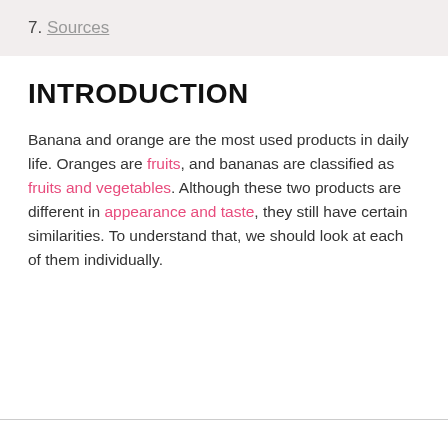7. Sources
INTRODUCTION
Banana and orange are the most used products in daily life. Oranges are fruits, and bananas are classified as fruits and vegetables. Although these two products are different in appearance and taste, they still have certain similarities. To understand that, we should look at each of them individually.